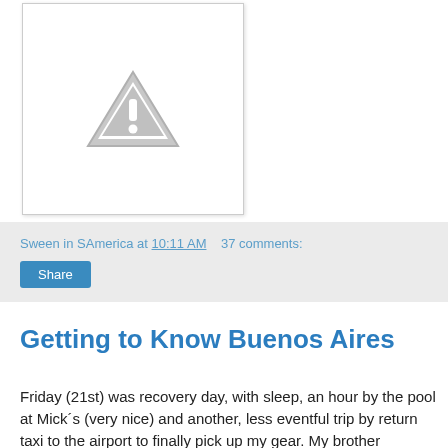[Figure (photo): Image placeholder with a grey warning triangle icon (exclamation mark) on a white background with light border and shadow]
Sween in SAmerica at 10:11 AM   37 comments:
Share
Getting to Know Buenos Aires
Friday (21st) was recovery day, with sleep, an hour by the pool at Mick´s (very nice) and another, less eventful trip by return taxi to the airport to finally pick up my gear. My brother